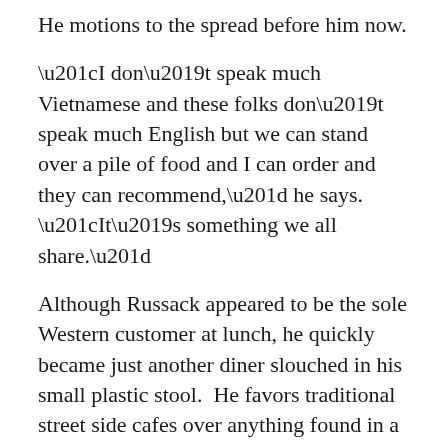He motions to the spread before him now.
“I don’t speak much Vietnamese and these folks don’t speak much English but we can stand over a pile of food and I can order and they can recommend,” he says.  “It’s something we all share.”
Although Russack appeared to be the sole Western customer at lunch, he quickly became just another diner slouched in his small plastic stool.  He favors traditional street side cafes over anything found in a guidebook or travel website.  To find blog-worthy meals he relies on word-of-mouth recommendations or places that catch his eye on his daily walks around Ho Chi Minh City.  He doesn't worry for a second about running out of options.
“You can literally eat your way through the city.  The food here is amazing,” he said.  “I’ll try anything once.” As if to